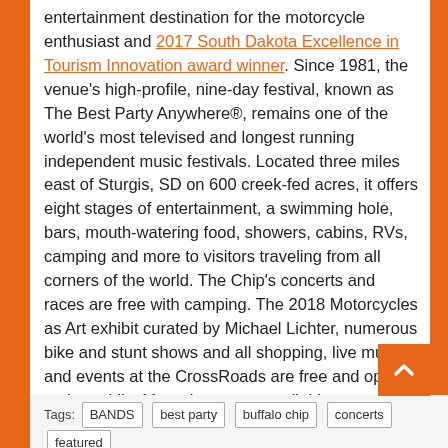entertainment destination for the motorcycle enthusiast and 2017 South Dakota Excellence in Tourism Innovation award winner. Since 1981, the venue's high-profile, nine-day festival, known as The Best Party Anywhere®, remains one of the world's most televised and longest running independent music festivals. Located three miles east of Sturgis, SD on 600 creek-fed acres, it offers eight stages of entertainment, a swimming hole, bars, mouth-watering food, showers, cabins, RVs, camping and more to visitors traveling from all corners of the world. The Chip's concerts and races are free with camping. The 2018 Motorcycles as Art exhibit curated by Michael Lichter, numerous bike and stunt shows and all shopping, live music and events at the CrossRoads are free and open to the public. More details are available at www.BuffaloChip.com.
Tags: BANDS best party buffalo chip concerts featured foreigner opening sturgis